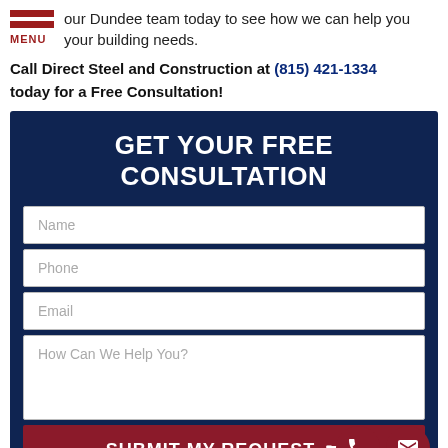our Dundee team today to see how we can help you your building needs.
Call Direct Steel and Construction at (815) 421-1334 today for a Free Consultation!
[Figure (screenshot): Web form with dark navy background titled GET YOUR FREE CONSULTATION with fields for Name, Phone, Email, How Can We Help You?, and a SUBMIT MY REQUEST button. Phone and email icon circles at bottom right.]